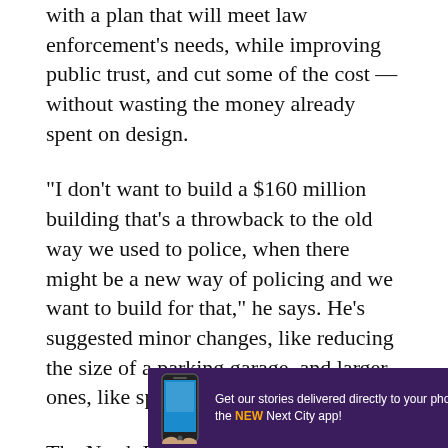with a plan that will meet law enforcement's needs, while improving public trust, and cut some of the cost — without wasting the money already spent on design.
“I don’t want to build a $160 million building that’s a throwback to the old way we used to police, when there might be a new way of policing and we want to build for that,” he says. He’s suggested minor changes, like reducing the size of a parking garage, and larger ones, like splitting the building into two.
The North Precinct is Seattle’s largest, encompassing 43 percent of the city’s population. Dove Alberg, director of the department of capital development and construction management, says renov... and one w... cause
[Figure (other): Advertisement banner overlay: dark purple background with phone icon graphic. Text reads: 'Get our stories delivered directly to your phone with the NEW Next City app!' with 'NEW' highlighted in orange. Close button (X) in orange circle top-right.]